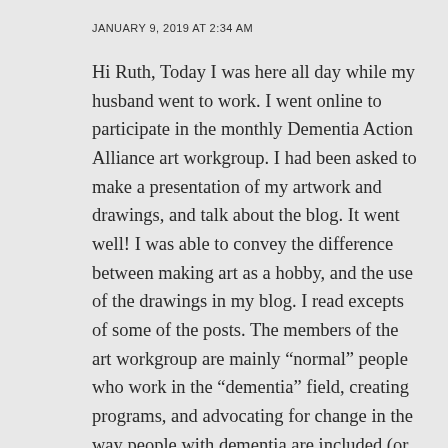JANUARY 9, 2019 AT 2:34 AM
Hi Ruth, Today I was here all day while my husband went to work. I went online to participate in the monthly Dementia Action Alliance art workgroup. I had been asked to make a presentation of my artwork and drawings, and talk about the blog. It went well! I was able to convey the difference between making art as a hobby, and the use of the drawings in my blog. I read excepts of some of the posts. The members of the art workgroup are mainly “normal” people who work in the “dementia” field, creating programs, and advocating for change in the way people with dementia are included (or excluded)